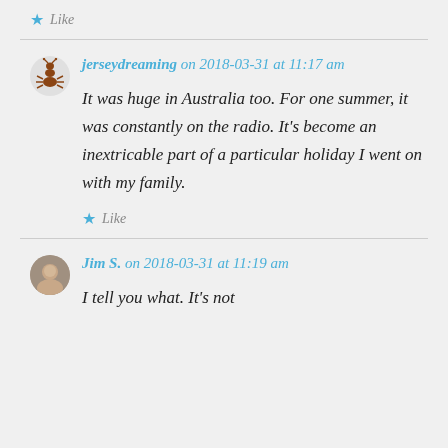Like
jerseydreaming on 2018-03-31 at 11:17 am
It was huge in Australia too. For one summer, it was constantly on the radio. It’s become an inextricable part of a particular holiday I went on with my family.
Like
Jim S. on 2018-03-31 at 11:19 am
I tell you what. It’s not